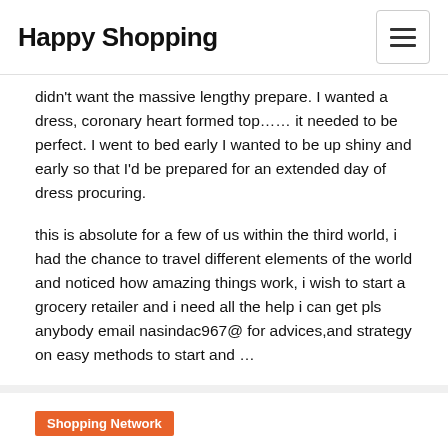Happy Shopping
didn't want the massive lengthy prepare. I wanted a dress, coronary heart formed top…… it needed to be perfect. I went to bed early I wanted to be up shiny and early so that I'd be prepared for an extended day of dress procuring.
this is absolute for a few of us within the third world, i had the chance to travel different elements of the world and noticed how amazing things work, i wish to start a grocery retailer and i need all the help i can get pls anybody email nasindac967@ for advices,and strategy on easy methods to start and …
Shopping Network
Gatlinburg Low cost Coupons